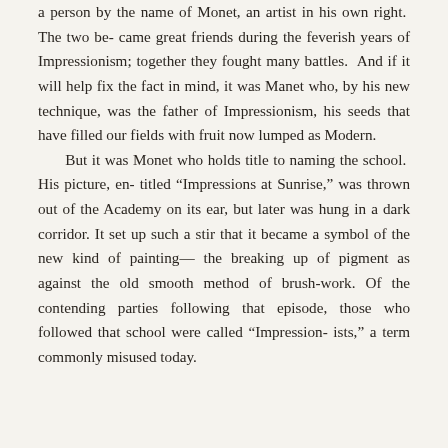a person by the name of Monet, an artist in his own right. The two became great friends during the feverish years of Impressionism; together they fought many battles. And if it will help fix the fact in mind, it was Manet who, by his new technique, was the father of Impressionism, his seeds that have filled our fields with fruit now lumped as Modern.

But it was Monet who holds title to naming the school. His picture, entitled “Impressions at Sunrise,” was thrown out of the Academy on its ear, but later was hung in a dark corridor. It set up such a stir that it became a symbol of the new kind of painting—the breaking up of pigment as against the old smooth method of brush-work. Of the contending parties following that episode, those who followed that school were called “Impressionists,” a term commonly misused today.